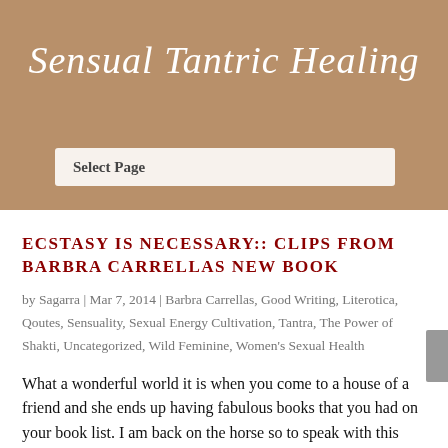Sensual Tantric Healing
Select Page
ECSTASY IS NECESSARY:: CLIPS FROM BARBRA CARRELLAS NEW BOOK
by Sagarra | Mar 7, 2014 | Barbra Carrellas, Good Writing, Literotica, Qoutes, Sensuality, Sexual Energy Cultivation, Tantra, The Power of Shakti, Uncategorized, Wild Feminine, Women's Sexual Health
What a wonderful world it is when you come to a house of a friend and she ends up having fabulous books that you had on your book list. I am back on the horse so to speak with this blog... Thanks to ALL who